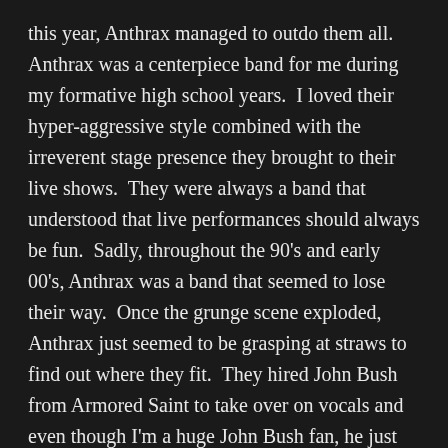this year, Anthrax managed to outdo them all. Anthrax was a centerpiece band for me during my formative high school years. I loved their hyper-aggressive style combined with the irreverent stage presence they brought to their live shows. They were always a band that understood that live performances should always be fun. Sadly, throughout the 90's and early 00's, Anthrax was a band that seemed to lose their way. Once the grunge scene exploded, Anthrax just seemed to be grasping at straws to find out where they fit. They hired John Bush from Armored Saint to take over on vocals and even though I'm a huge John Bush fan, he just never really seemed to gel with the rest of the band. There are a lot of solid moments from the Bush-era albums, but they just never reached the pinnacle of Anthrax's earlier career. In 2011,